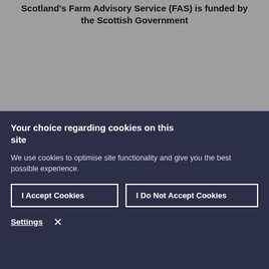Scotland's Farm Advisory Service (FAS) is funded by the Scottish Government
Your choice regarding cookies on this site
We use cookies to optimise site functionality and give you the best possible experience.
I Accept Cookies
I Do Not Accept Cookies
Settings